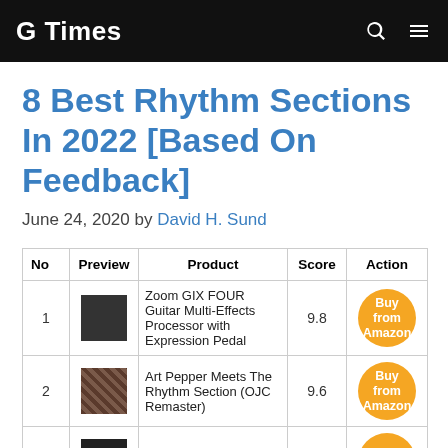G Times
8 Best Rhythm Sections In 2022 [Based On Feedback]
June 24, 2020 by David H. Sund
| No | Preview | Product | Score | Action |
| --- | --- | --- | --- | --- |
| 1 | [image] | Zoom GIX FOUR Guitar Multi-Effects Processor with Expression Pedal | 9.8 | Buy from Amazon |
| 2 | [image] | Art Pepper Meets The Rhythm Section (OJC Remaster) | 9.6 | Buy from Amazon |
| 3 | [image] | The Best of Atlanta Rhythm Section | 9.6 | from |